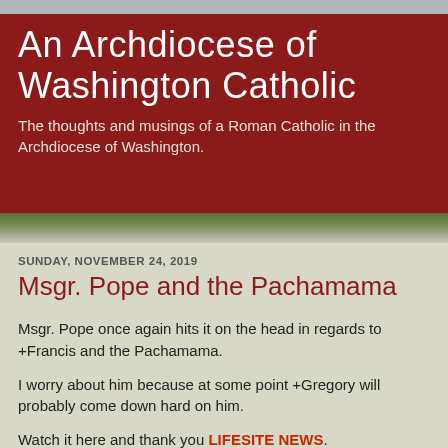An Archdiocese of Washington Catholic
The thoughts and musings of a Roman Catholic in the Archdiocese of Washington.
SUNDAY, NOVEMBER 24, 2019
Msgr. Pope and the Pachamama
Msgr. Pope once again hits it on the head in regards to +Francis and the Pachamama.
I worry about him because at some point +Gregory will probably come down hard on him.
Watch it here and thank you LIFESITE NEWS.